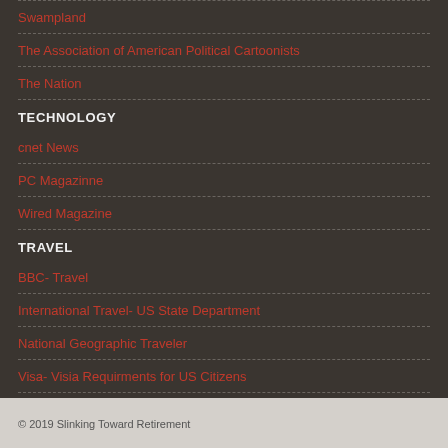Swampland
The Association of American Political Cartoonists
The Nation
TECHNOLOGY
cnet News
PC Magazinne
Wired Magazine
TRAVEL
BBC- Travel
International Travel- US State Department
National Geographic Traveler
Visa- Visia Requirments for US Citizens
Where
© 2019 Slinking Toward Retirement